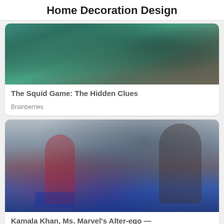Home Decoration Design
[Figure (photo): Photo from Squid Game showing people in teal/green tracksuits]
The Squid Game: The Hidden Clues
Brainberries
[Figure (photo): Photo of Kamala Khan in Ms. Marvel costume alongside a young man in a red beanie, standing in front of city buildings]
Kamala Khan, Ms. Marvel's Alter-ego — Inspires Big Hopes